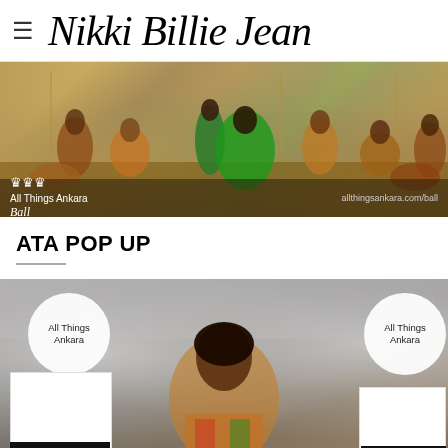≡  Nikki Billie Jean
[Figure (photo): Fashion editorial photo showing group of models in African ankara print outfits at an ornate ballroom setting. Text overlay reads 'All Things Ankara Ball' with crown logo and 'allthingsankara.com/ball' on right.]
ATA POP UP
[Figure (photo): Photo of a woman in colorful ankara print blazer posing thoughtfully with hand near chin. Two white circular 'All Things Ankara' branded signs visible, and white gift boxes with black branded ribbon in foreground.]